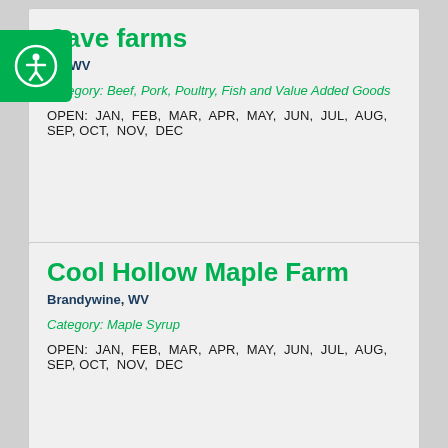Cave farms
ne, WV
Category: Beef, Pork, Poultry, Fish and Value Added Goods
OPEN: JAN, FEB, MAR, APR, MAY, JUN, JUL, AUG, SEP, OCT, NOV, DEC
DETAILS »
Cool Hollow Maple Farm
Brandywine, WV
Category: Maple Syrup
OPEN: JAN, FEB, MAR, APR, MAY, JUN, JUL, AUG, SEP, OCT, NOV, DEC